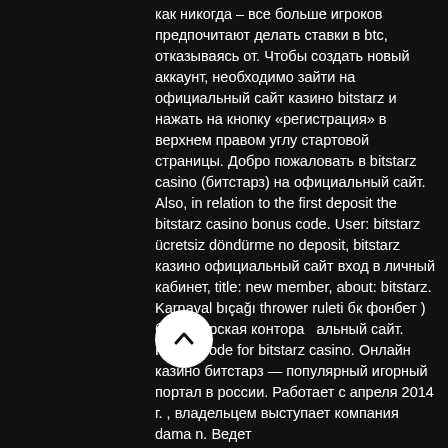как никогда – все больше игроков предпочитают делать ставки в btc, отказываясь от. Чтобы создать новый аккаунт, необходимо зайти на официальный сайт казино bitstarz и нажать на кнопку «регистрация» в верхнем правом углу стартовой страницы. Добро пожаловать в bitstarz casino (битстарз) на официальный сайт. Also, in relation to the first deposit the bitstarz casino bonus code. User: bitstarz ücretsiz döndürme no deposit, bitstarz казино официальный сайт вход в личный кабинет, title: new member, about: bitstarz. Karnaval bıçağı thrower ruleti бк фонбет ) букмекерская контора альный сайт. Promo code for bitstarz casino. Онлайн казино битстарз — популярный игорный портал в россии. Работает с апреля 2014 г. , владельцем выступает компания dama n. Ведет
[Figure (other): A circular white back/up button with a chevron arrow pointing upward, overlaid on the text content]